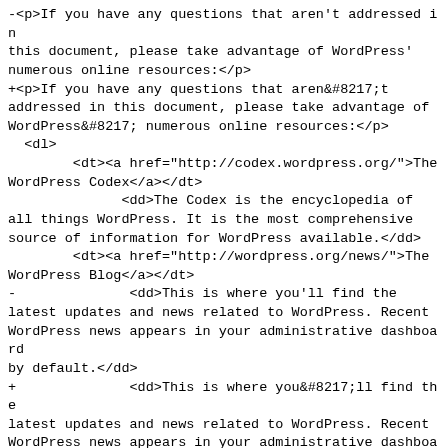-<p>If you have any questions that aren't addressed in this document, please take advantage of WordPress' numerous online resources:</p>
+<p>If you have any questions that aren&#8217;t addressed in this document, please take advantage of WordPress&#8217; numerous online resources:</p>
  <dl>
        <dt><a href="http://codex.wordpress.org/">The WordPress Codex</a></dt>
              <dd>The Codex is the encyclopedia of all things WordPress. It is the most comprehensive source of information for WordPress available.</dd>
        <dt><a href="http://wordpress.org/news/">The WordPress Blog</a></dt>
-              <dd>This is where you'll find the latest updates and news related to WordPress. Recent WordPress news appears in your administrative dashboard by default.</dd>
+              <dd>This is where you&#8217;ll find the latest updates and news related to WordPress. Recent WordPress news appears in your administrative dashboard by default.</dd>
        <dt><a
href="http://planet.wordpress.org/">WordPress Planet</a></dt>
              <dd>The WordPress Planet is a news aggregator that brings together posts from WordPress blogs around the web.</dd>
        <dt><a
href="http://wordpress.org/support/">WordPress Support